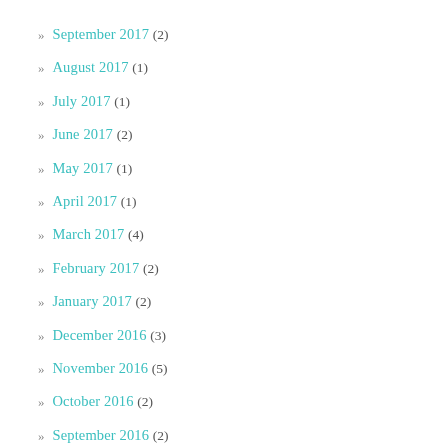» September 2017 (2)
» August 2017 (1)
» July 2017 (1)
» June 2017 (2)
» May 2017 (1)
» April 2017 (1)
» March 2017 (4)
» February 2017 (2)
» January 2017 (2)
» December 2016 (3)
» November 2016 (5)
» October 2016 (2)
» September 2016 (2)
» August 2016 (5)
» July 2016 (3)